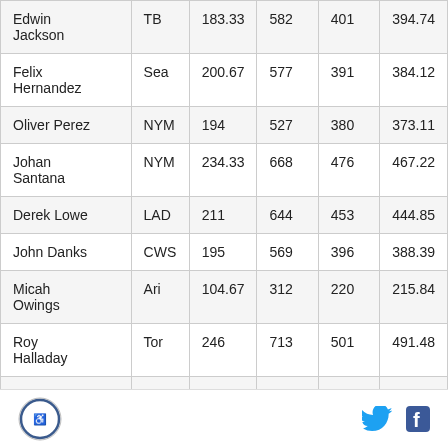| Edwin Jackson | TB | 183.33 | 582 | 401 | 394.74 |
| Felix Hernandez | Sea | 200.67 | 577 | 391 | 384.12 |
| Oliver Perez | NYM | 194 | 527 | 380 | 373.11 |
| Johan Santana | NYM | 234.33 | 668 | 476 | 467.22 |
| Derek Lowe | LAD | 211 | 644 | 453 | 444.85 |
| John Danks | CWS | 195 | 569 | 396 | 388.39 |
| Micah Owings | Ari | 104.67 | 312 | 220 | 215.84 |
| Roy Halladay | Tor | 246 | 713 | 501 | 491.48 |
| Scott Baker | Min | 172.33 | 497 | 354 | 347.21 |
Logo | Twitter | Facebook